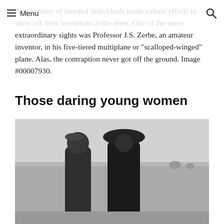Menu
Any number of intrepid individuals made valiant efforts to show off their inventions at the meet. One of the more extraordinary sights was Professor J.S. Zerbe, an amateur inventor, in his five-tiered multiplane or “scalloped-winged” plane. Alas, the contraption never got off the ground. Image #00007930.
Those daring young women
[Figure (photo): Black and white historical photograph of two women standing outdoors in early 20th century dress, one wearing a large hat. An open field is visible in the background.]